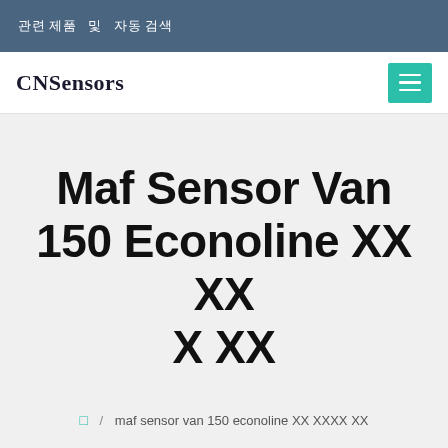관련 제품  및  자동 검색
CNSensors
Maf Sensor Van 150 Econoline 구매 최저 가 검색
🏠 / maf sensor van 150 econoline 구매 최저가 검색